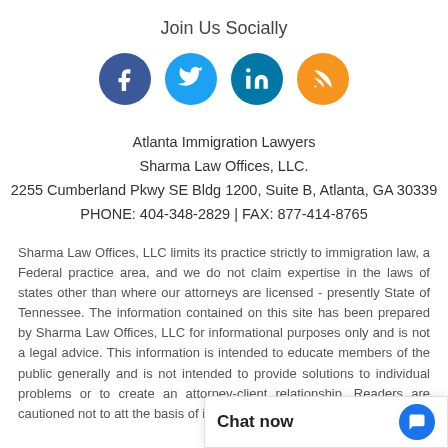Join Us Socially
[Figure (infographic): Four social media icons in circles: Facebook (dark blue), Twitter (light blue), LinkedIn (teal), RSS (orange)]
Atlanta Immigration Lawyers
Sharma Law Offices, LLC.
2255 Cumberland Pkwy SE Bldg 1200, Suite B, Atlanta, GA 30339
PHONE: 404-348-2829 | FAX: 877-414-8765
Sharma Law Offices, LLC limits its practice strictly to immigration law, a Federal practice area, and we do not claim expertise in the laws of states other than where our attorneys are licensed - presently State of Tennessee. The information contained on this site has been prepared by Sharma Law Offices, LLC for informational purposes only and is not a legal advice. This information is intended to educate members of the public generally and is not intended to provide solutions to individual problems or to create an attorney-client relationship. Readers are cautioned not to att the basis of info strongly advised to